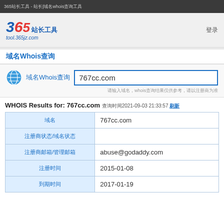365站长工具 - 站长|域名whois查询工具
[Figure (logo): 365站长工具 logo with tool.365jz.com URL]
域名Whois查询
域名Whois查询 767cc.com
请输入域名，whois查询结果仅供参考，请以注册商为准
WHOIS Results for: 767cc.com 查询时间2021-09-03 21:33:57 刷新
| 字段 | 值 |
| --- | --- |
| 域名 | 767cc.com |
| 注册商状态/域名状态 |  |
| 注册商邮箱/管理邮箱 | abuse@godaddy.com |
| 注册时间 | 2015-01-08 |
| 到期时间 | 2017-01-19 |